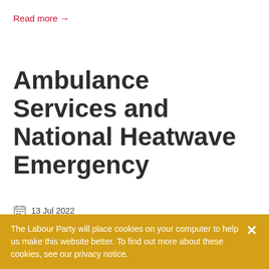Read more →
Ambulance Services and National Heatwave Emergency
13 Jul 2022
Commons debates
I urge the Minister to consider the position again, and consider declaring an emergency. I especially want to draw her attention to issues in the South Central Ambulance Service area, where
The Labour Party will place cookies on your computer to help us make this website better. To find out more about these cookies, see our privacy notice.